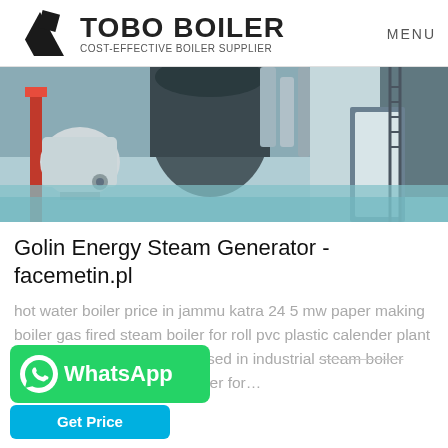TOBO BOILER COST-EFFECTIVE BOILER SUPPLIER | MENU
[Figure (photo): Industrial boiler equipment photo showing large industrial steam boilers in a factory setting with blue-green floor and pipes]
Golin Energy Steam Generator - facemetin.pl
hot water boiler price in jammu katra 24 5 mw paper making boiler gas fired steam boiler for roll pvc plastic calender plant 3 ton biomass pellet boiler used in industrial steam boiler coal based boielr 28 mw boiler for…
[Figure (other): WhatsApp contact button (green) and Get Price button (blue)]